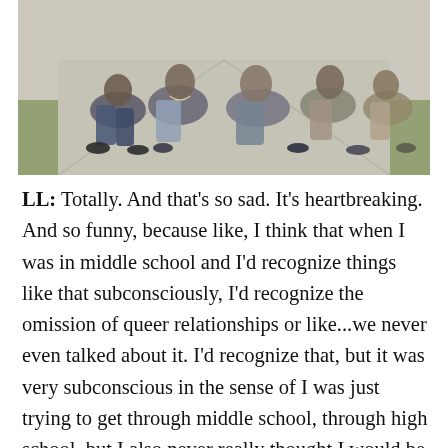[Figure (photo): Group of young people (teenagers/students) sitting and posing outdoors on a concrete surface with grass in the background. They are wearing casual clothing including jeans and jackets.]
LL: Totally. And that's so sad. It's heartbreaking. And so funny, because like, I think that when I was in middle school and I'd recognize things like that subconsciously, I'd recognize the omission of queer relationships or like...we never even talked about it. I'd recognize that, but it was very subconscious in the sense of I was just trying to get through middle school, through high school, but I also never really thought I would be in a space where I was affirmed in my identity and could come out and thrive as a queer